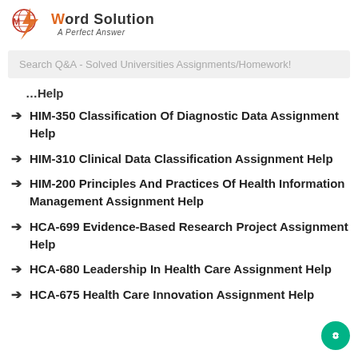[Figure (logo): My Word Solution logo with orange lightning bolt and globe icon, tagline 'A Perfect Answer']
Search Q&A - Solved Universities Assignments/Homework!
Help
HIM-350 Classification Of Diagnostic Data Assignment Help
HIM-310 Clinical Data Classification Assignment Help
HIM-200 Principles And Practices Of Health Information Management Assignment Help
HCA-699 Evidence-Based Research Project Assignment Help
HCA-680 Leadership In Health Care Assignment Help
HCA-675 Health Care Innovation Assignment Help